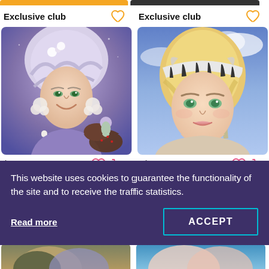Exclusive club
Exclusive club
[Figure (illustration): Illustrated woman with silver/white updo hair, pearl necklace and earrings, in a purple dress. Small figure of a woman sitting on chocolate cakes in background.]
[Figure (illustration): Illustrated woman with blonde hair and a zebra-print headband, close-up portrait with blue sky background.]
$1.85
$1.85
This website uses cookies to guarantee the functionality of the site and to receive the traffic statistics.
Read more
ACCEPT
[Figure (illustration): Partial bottom image: illustrated woman with dark hair, appears to be in a fantasy/nature setting.]
[Figure (illustration): Partial bottom image: illustrated woman in what appears to be a beach/ocean setting.]